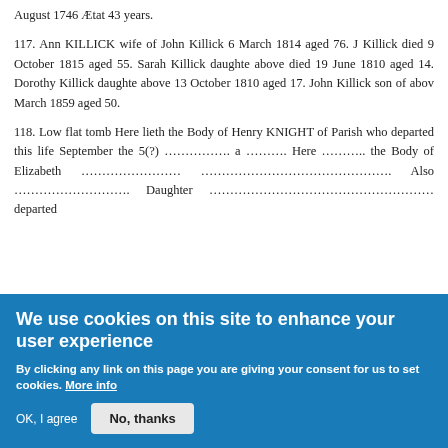August 1746 Ætat 43 years.
117. Ann KILLICK wife of John Killick 6 March 1814 aged 76. J Killick died 9 October 1815 aged 55. Sarah Killick daughte above died 19 June 1810 aged 14. Dorothy Killick daughte above 13 October 1810 aged 17. John Killick son of abov March 1859 aged 50.
118. Low flat tomb Here lieth the Body of Henry KNIGHT of Parish who departed this life September the 5(?) ……………. a ………. Here ……….. the Body of Elizabeth …………………… ………………………………………. Also ………………………. Daughter ………………………………………… departed
We use cookies on this site to enhance your user experience
By clicking any link on this page you are giving your consent for us to set cookies. More info
OK, I agree   No, thanks